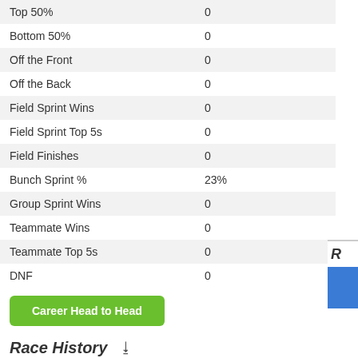| Stat | Value |
| --- | --- |
| Top 50% | 0 |
| Bottom 50% | 0 |
| Off the Front | 0 |
| Off the Back | 0 |
| Field Sprint Wins | 0 |
| Field Sprint Top 5s | 0 |
| Field Finishes | 0 |
| Bunch Sprint % | 23% |
| Group Sprint Wins | 0 |
| Teammate Wins | 0 |
| Teammate Top 5s | 0 |
| DNF | 0 |
Career Head to Head
Race History
2016 - 1 races